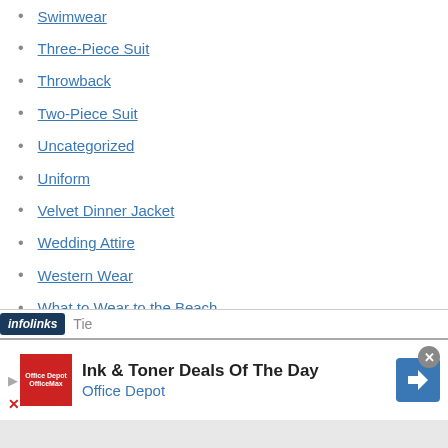Swimwear
Three-Piece Suit
Throwback
Two-Piece Suit
Uncategorized
Uniform
Velvet Dinner Jacket
Wedding Attire
Western Wear
What to Wear to the Beach
What to Wear to the Office
White Dinner Jacket
Tie
[Figure (infographic): Advertisement banner: Ink & Toner Deals Of The Day - Office Depot, with red Office Depot logo and blue navigation arrow icon. Infolinks overlay bar visible above ad.]